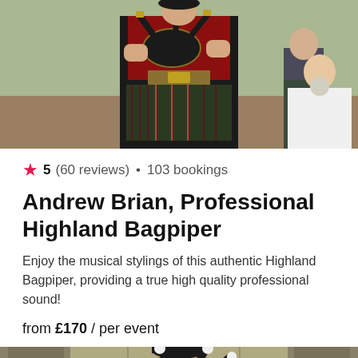[Figure (photo): A Highland Bagpiper in full traditional Scottish military dress including red tunic and tartan kilt, playing bagpipes outdoors at a wedding, with a bride visible in the background]
5 (60 reviews) • 103 bookings
Andrew Brian, Professional Highland Bagpiper
Enjoy the musical stylings of this authentic Highland Bagpiper, providing a true high quality professional sound!
from £170 / per event
[Figure (photo): A Highland Bagpiper in dark navy uniform with black cap playing bagpipes, photographed in front of stone columns]